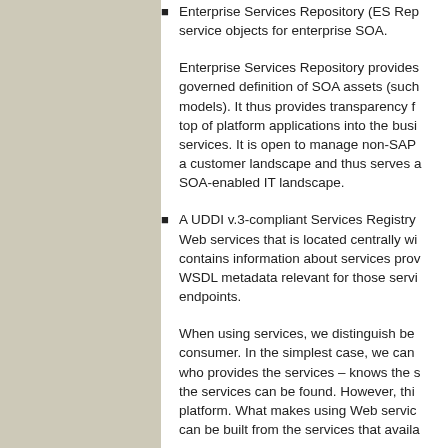Enterprise Services Repository (ES Rep... service objects for enterprise SOA.
Enterprise Services Repository provides... governed definition of SOA assets (such... models). It thus provides transparency f... top of platform applications into the busi... services. It is open to manage non-SAP... a customer landscape and thus serves a... SOA-enabled IT landscape.
A UDDI v.3-compliant Services Registry... Web services that is located centrally wi... contains information about services prov... WSDL metadata relevant for those servi... endpoints.
When using services, we distinguish be... consumer. In the simplest case, we can... who provides the services – knows the s... the services can be found. However, thi... platform. What makes using Web servic... can be built from the services that availa...